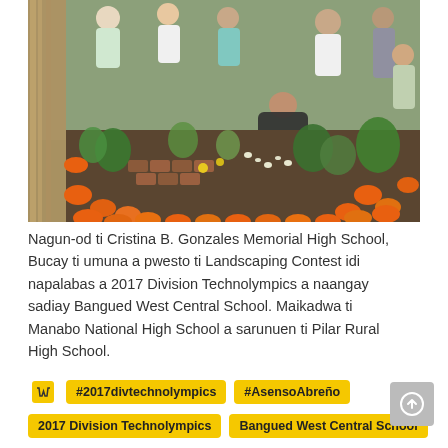[Figure (photo): Outdoor landscaping contest display with a garden featuring orange buckets as borders, various plants, brick arrangements, and students and spectators surrounding the garden plot.]
Nagun-od ti Cristina B. Gonzales Memorial High School, Bucay ti umuna a pwesto ti Landscaping Contest idi napalabas a 2017 Division Technolympics a naangay sadiay Bangued West Central School. Maikadwa ti Manabo National High School a sarunuen ti Pilar Rural High School.
#2017divtechnolympics #AsensoAbreño 2017 Division Technolympics Bangued West Central School